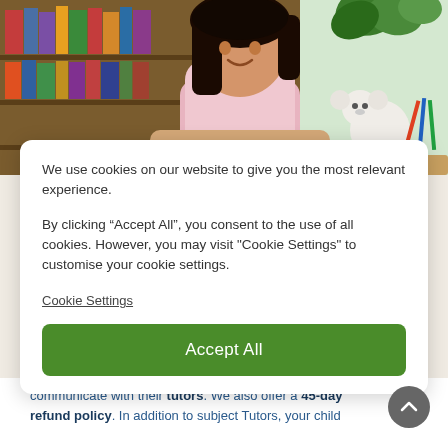[Figure (photo): A young girl with dark hair wearing a pink sweater, smiling while studying/working at a desk with a bookshelf full of books in the background and a white teddy bear to the right side.]
We use cookies on our website to give you the most relevant experience.
By clicking “Accept All”, you consent to the use of all cookies. However, you may visit "Cookie Settings" to customise your cookie settings.
Cookie Settings
Accept All
communicate with their tutors. We also offer a 45-day refund policy. In addition to subject Tutors, your child